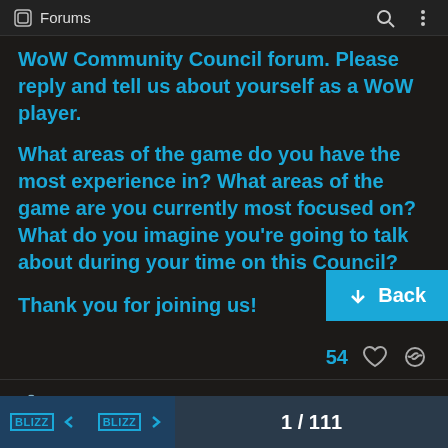Forums
WoW Community Council forum. Please reply and tell us about yourself as a WoW player.
What areas of the game do you have the most experience in? What areas of the game are you currently most focused on? What do you imagine you're going to talk about during your time on this Council?
Thank you for joining us!
54 ♡ 🔗
Another Community Council inv
Do you "identify
1 / 111